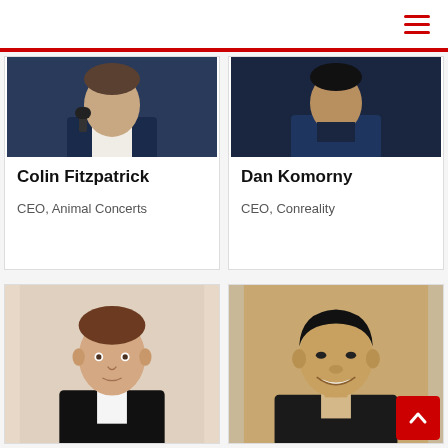Navigation menu
[Figure (photo): Colin Fitzpatrick - man in blue suit holding microphone, dark background]
Colin Fitzpatrick
CEO, Animal Concerts
[Figure (photo): Dan Komorny - man in dark blue jacket, dark background]
Dan Komorny
CEO, Conreality
[Figure (photo): Young man with brown hair in dark suit, white background]
[Figure (photo): Asian man smiling, dark jacket]